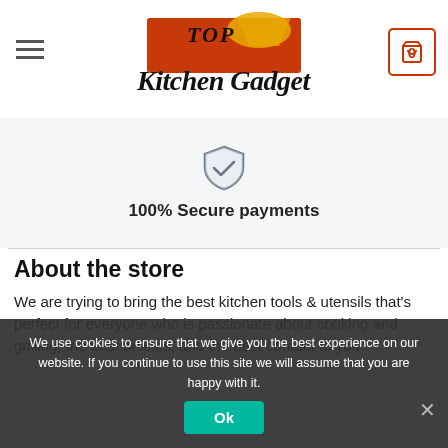Top Kitchen Gadget — website header with logo and cart
[Figure (logo): Top Kitchen Gadget logo with orange/red badge, chef hat and script text]
[Figure (illustration): Shield/secure payment icon (gray shield with check)]
100% Secure payments
About the store
We are trying to bring the best kitchen tools & utensils that's perfect for everyone who is passionate about cooking and grilling, the best articles, and the best content to you
We use cookies to ensure that we give you the best experience on our website. If you continue to use this site we will assume that you are happy with it.